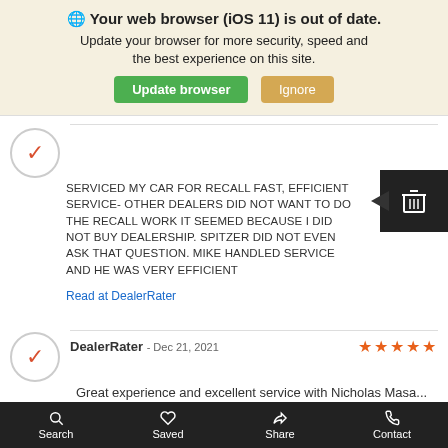🌐 Your web browser (iOS 11) is out of date. Update your browser for more security, speed and the best experience on this site.
Update browser | Ignore
SERVICED MY CAR FOR RECALL FAST, EFFICIENT SERVICE- OTHER DEALERS DID NOT WANT TO DO THE RECALL WORK IT SEEMED BECAUSE I DID NOT BUY DEALERSHIP. SPITZER DID NOT EVEN ASK THAT QUESTION. MIKE HANDLED SERVICE AND HE WAS VERY EFFICIENT
Read at DealerRater
DealerRater - Dec 21, 2021  ★★★★★
Great experience and excellent service with Nicholas Masa... Thank you, Thank you! Will definitely be back again.
Read at DealerRater
Search  Saved  Share  Contact